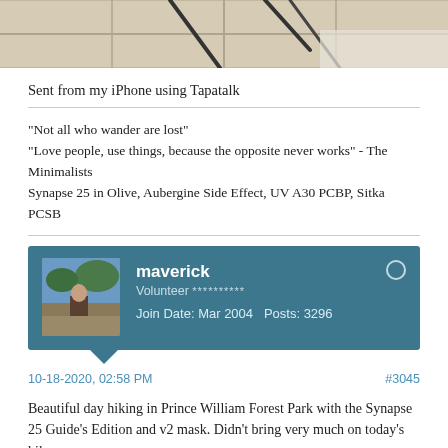[Figure (photo): Partial photo showing what appears to be a tiled floor with dark lines, cropped at top of page]
Sent from my iPhone using Tapatalk
"Not all who wander are lost"
"Love people, use things, because the opposite never works" - The Minimalists
Synapse 25 in Olive, Aubergine Side Effect, UV A30 PCBP, Sitka PCSB
[Figure (screenshot): Forum user card for 'maverick', Volunteer, Join Date: Mar 2004, Posts: 3296, with avatar photo of person outdoors]
10-18-2020, 02:58 PM
#3045
Beautiful day hiking in Prince William Forest Park with the Synapse 25 Guide's Edition and v2 mask. Didn't bring very much on today's hike —